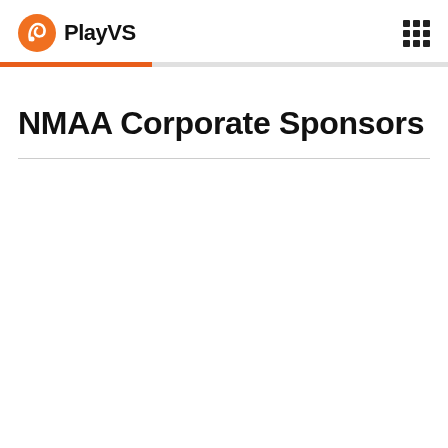PlayVS
NMAA Corporate Sponsors